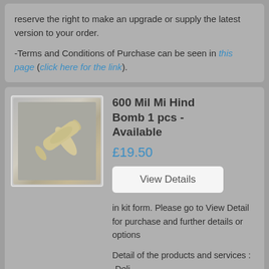reserve the right to make an upgrade or supply the latest version to your order.
-Terms and Conditions of Purchase can be seen in this page (click here for the link).
600 Mil Mi Hind Bomb 1 pcs - Available
£19.50
View Details
[Figure (photo): Photo of a model bomb component, beige/tan colored cylindrical piece with a pointed tip, displayed against a gray background.]
in kit form. Please go to View Detail for purchase and further details or options
Detail of the products and services :
-Deli...